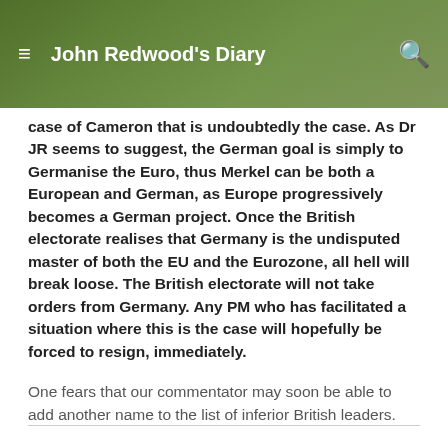John Redwood's Diary
case of Cameron that is undoubtedly the case. As Dr JR seems to suggest, the German goal is simply to Germanise the Euro, thus Merkel can be both a European and German, as Europe progressively becomes a German project. Once the British electorate realises that Germany is the undisputed master of both the EU and the Eurozone, all hell will break loose. The British electorate will not take orders from Germany. Any PM who has facilitated a situation where this is the case will hopefully be forced to resign, immediately.
One fears that our commentator may soon be able to add another name to the list of inferior British leaders.